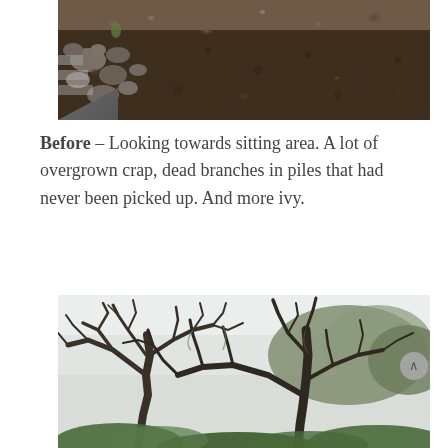[Figure (photo): Top portion of a photo showing rocky ground and dirt area, looking towards a sitting area. Dark brown soil with scattered rocks and stones visible.]
Before – Looking towards sitting area. A lot of overgrown crap, dead branches in piles that had never been picked up. And more ivy.
[Figure (photo): Photo of large oak trees with bare gnarled branches against a light sky, with green foliage and shrubs visible at the bottom.]